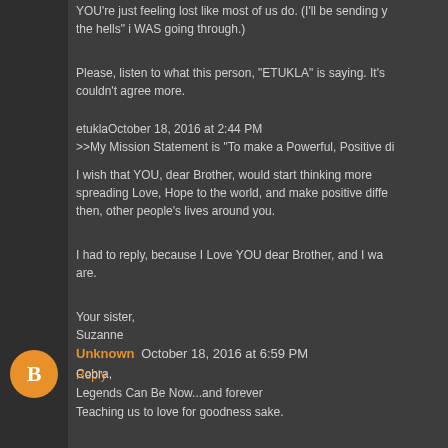YOU're just feeling lost like most of us do. (I'll be sending y... the hells" i WAS going through.)
Please, listen to what this person, "ETUKLA" is saying. It's... couldn't agree more.
etuklaOctober 18, 2016 at 2:44 PM
>>My Mission Statement is "To make a Powerful, Positive di...
I wish that YOU, dear Brother, would start thinking more... spreading Love, Hope to the world, and make positive diffe... then, other people's lives around you.
I had to reply, because I Love YOU dear Brother, and I wa... are.
Your sister,
Suzanne
Reply
Unknown October 18, 2016 at 6:59 PM
Cobra,
Legends Can Be Now...and forever
Teaching us to love for goodness sake.